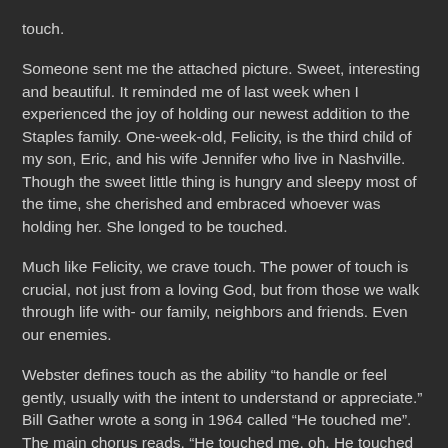touch.
Someone sent me the attached picture. Sweet, interesting and beautiful. It reminded me of last week when I experienced the joy of holding our newest addition to the Staples family. One-week-old, Felicity, is the third child of my son, Eric, and his wife Jennifer who live in Nashville. Though the sweet little thing is hungry and sleepy most of the time, she cherished and embraced whoever was holding her. She longed to be touched.
Much like Felicity, we crave touch. The power of touch is crucial, not just from a loving God, but from those we walk through life with- our family, neighbors and friends. Even our enemies.
Webster defines touch as the ability “to handle or feel gently, usually with the intent to understand or appreciate.” Bill Gather wrote a song in 1964 called “He touched me”. The main chorus reads, “He touched me, oh, He touched me. And oh, the joy that floods my soul…”. Research would suggest that there is always a byproduct of touch. Something